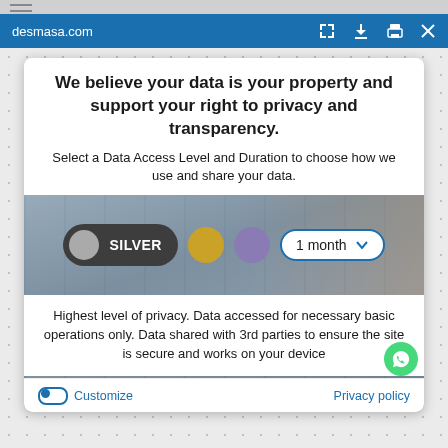desmasa.com
We believe your data is your property and support your right to privacy and transparency.
Select a Data Access Level and Duration to choose how we use and share your data.
[Figure (screenshot): Privacy consent dialog showing Silver data access level selected (dark pill with silver circle), gold circle, purple circle, and 1 month dropdown selector, overlaid on industrial background image]
Highest level of privacy. Data accessed for necessary basic operations only. Data shared with 3rd parties to ensure the site is secure and works on your device
Save my preferences
Customize
Privacy policy